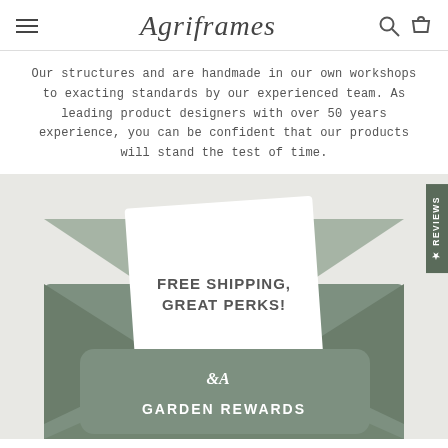Agriframes
Our structures and are handmade in our own workshops to exacting standards by our experienced team. As leading product designers with over 50 years experience, you can be confident that our products will stand the test of time.
[Figure (illustration): Garden Rewards loyalty card shown inside an open envelope. The envelope is grey-green and a white card inside shows the text FREE SHIPPING, GREAT PERKS! The card has the Agriframes logo and GARDEN REWARDS text at the bottom.]